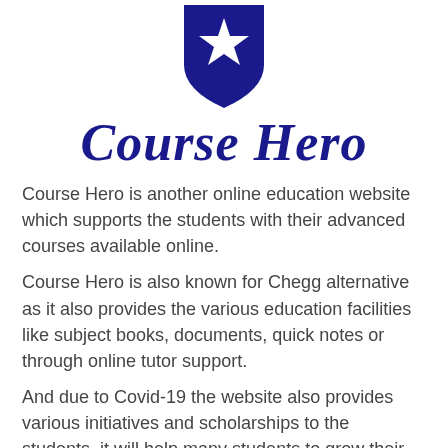[Figure (logo): Course Hero shield logo — dark navy blue shield with a white five-pointed star in the center]
Course Hero
Course Hero is another online education website which supports the students with their advanced courses available online.
Course Hero is also known for Chegg alternative as it also provides the various education facilities like subject books, documents, quick notes or through online tutor support.
And due to Covid-19 the website also provides various initiatives and scholarships to the students, it will help many students to grow their career at very less expense.
Final Words